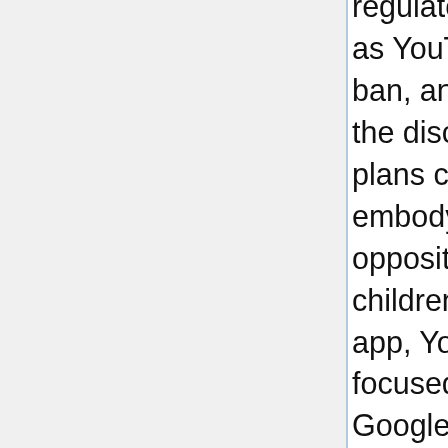regulators and complainants. It isn't yet referred to as YouTube plans to deliver this concentrating on ban, and in keeping with the individuals "aware of the discussion" cited by Bloomberg, the platform's plans could nonetheless change. Some of our tales embody affiliate hyperlinks. A earlier case in opposition to YouTube referred to as for all of its children's content to be moved to its designated app, YouTube Children. Plus, after all, getting rid of focused kids' advertisements would certainly dent Google's backside line - though making contextual ads more attention-grabbing would possibly assist to mitigate this. How would YouTube impose this ban on the numerous 1000's of channels with which it splits it sales? Another proposal suggests merely disabling ads on these videos. Speaking to Bloomberg, Josh